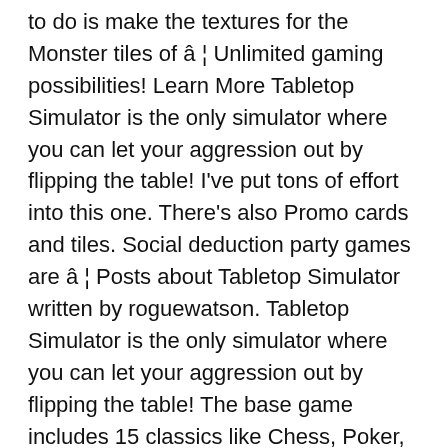to do is make the textures for the Monster tiles of â ¦ Unlimited gaming possibilities! Learn More Tabletop Simulator is the only simulator where you can let your aggression out by flipping the table! I've put tons of effort into this one. There's also Promo cards and tiles. Social deduction party games are â ¦ Posts about Tabletop Simulator written by roguewatson. Tabletop Simulator is the only simulator where you can let your aggression out by flipping the table! The base game includes 15 classics like Chess, Poker, Chinese Checkers, Dominoes, and Mahjong. 04-20-2016, 04:08 PM. As the great powers of Europe stretch their colonial empires further and further, they will inevitably lay claim to a pla... You need to sign in or create an account to do that. While the creators seem to work overtime to strike it from â ¦ According to a poll we did here, people generally play either Advanced Solo, Golden Solo, or two-handed with ... I wanted to get this too, to play with some of